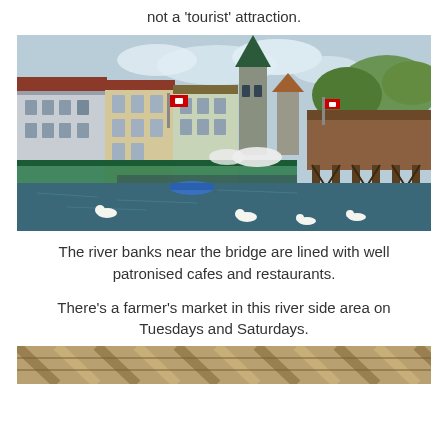not a 'tourist' attraction.
[Figure (photo): Lucerne riverfront with historic colorful buildings, a church steeple, the famous Chapel Bridge on the right, swans on the water, and outdoor cafes along the bank.]
The river banks near the bridge are lined with well patronised cafes and restaurants.
There's a farmer's market in this river side area on Tuesdays and Saturdays.
[Figure (photo): Partial view of a market or food scene, cropped at bottom of page.]